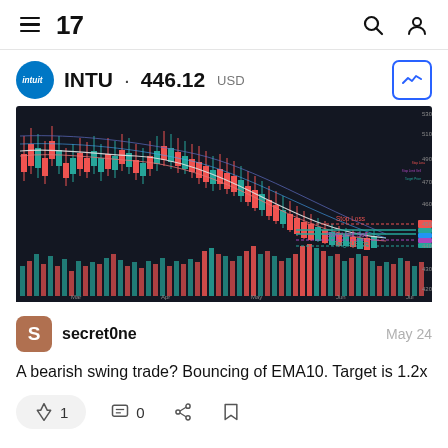TradingView navigation header with hamburger menu, TV logo, search icon, user icon
INTU · 446.12 USD
[Figure (continuous-plot): TradingView candlestick chart for INTU showing a bearish trend. Red and green candlesticks with moving average lines and volume bars at the bottom. Annotations show Stop Loss, Stop Limit Sell, and Target Price levels on the right side.]
secret0ne  May 24
A bearish swing trade? Bouncing of EMA10. Target is 1.2x
1  0